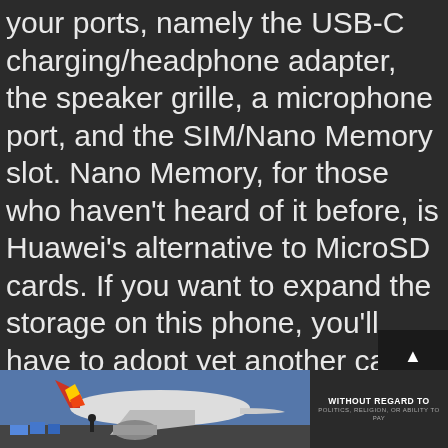your ports, namely the USB-C charging/headphone adapter, the speaker grille, a microphone port, and the SIM/Nano Memory slot. Nano Memory, for those who haven't heard of it before, is Huawei's alternative to MicroSD cards. If you want to expand the storage on this phone, you'll have to adopt yet another card format.
[Figure (photo): Advertisement banner at bottom of page showing an airplane/cargo aircraft image on the left with text 'WITHOUT REGARD TO POLITICS, RELIGION, OR ABILITY TO PAY' on the right dark panel]